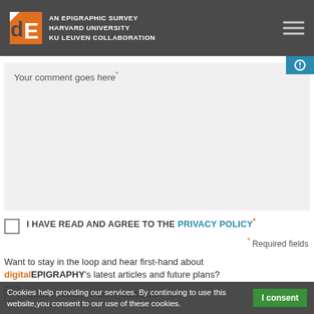AN EPIGRAPHIC SURVEY HARVARD UNIVERSITY KU LEUVEN COLLABORATION
Your comment goes here*
I HAVE READ AND AGREE TO THE PRIVACY POLICY*
* Required fields
Want to stay in the loop and hear first-hand about digitalEPIGRAPHY's latest articles and future plans?
Cookies help providing our services. By continuing to use this website,you consent to our use of these cookies.  I consent
SUBSCRIBE TO OUR NEWSLETTER